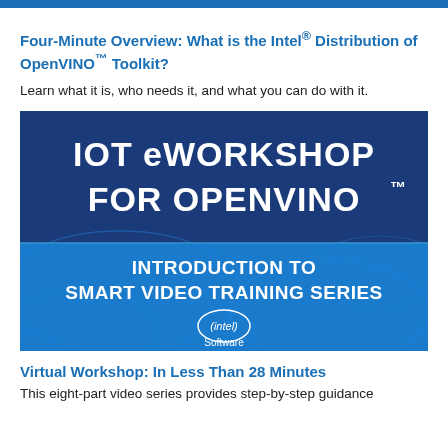Four-Minute Overview: What is the Intel® Distribution of OpenVINO™ Toolkit?
Learn what it is, who needs it, and what you can do with it.
[Figure (illustration): IOT eWorkshop for OpenVINO™ — Introduction to Smart Video Training Series banner with Intel Software logo. Dark blue upper half with 'IOT eWORKSHOP FOR OPENVINO™' in white bold text, lighter blue lower half with 'INTRODUCTION TO SMART VIDEO TRAINING SERIES' and Intel Software logo.]
Virtual Workshop: In Less Than 28 Minutes
This eight-part video series provides step-by-step guidance